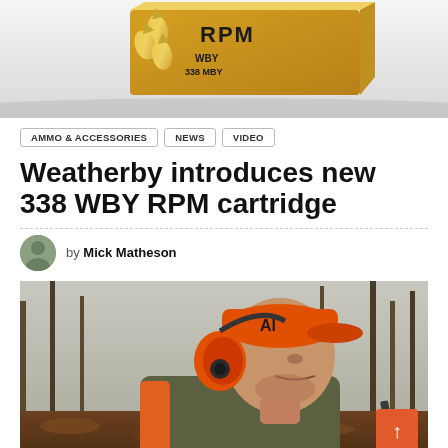[Figure (photo): Product photo of Weatherby 338 WBY RPM ammunition box and cartridges against white background]
AMMO & ACCESSORIES   NEWS   VIDEO
Weatherby introduces new 338 WBY RPM cartridge
by Mick Matheson
[Figure (photo): Man wearing orange hunting cap and orange ear protection (hearing muffs) in a wooded area, looking to the right, wearing an olive/orange hunting vest]
AMMO & ACCESSORIES   COMMENT & ANALYSIS   1